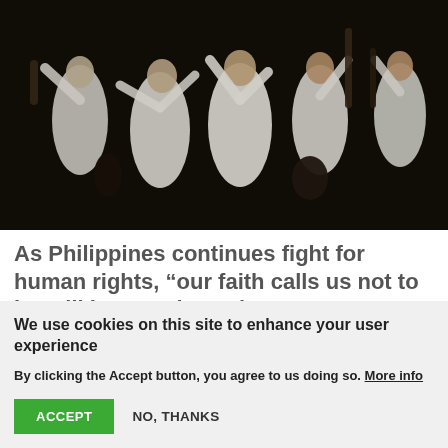[Figure (photo): Group of Filipino dancers in white clothing performing on a dark stage, holding sticks and instruments, arms raised.]
As Philippines continues fight for human rights, “our faith calls us not to be still but to take action”
At a 28 July ecumenical briefing on INVESTIGATE PH’s “Second Report of the Independent International Commission of Investigation Into Human Rights
We use cookies on this site to enhance your user experience
By clicking the Accept button, you agree to us doing so. More info
ACCEPT
NO, THANKS